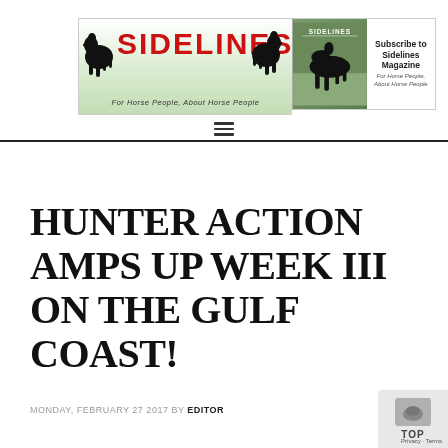[Figure (logo): Sidelines magazine banner logo with horse silhouettes, tagline 'For Horse People, About Horse People', and Subscribe to Sidelines Magazine call-to-action on the right]
HUNTER ACTION AMPS UP WEEK III ON THE GULF COAST!
MONDAY, FEBRUARY 27 2017 BY EDITOR